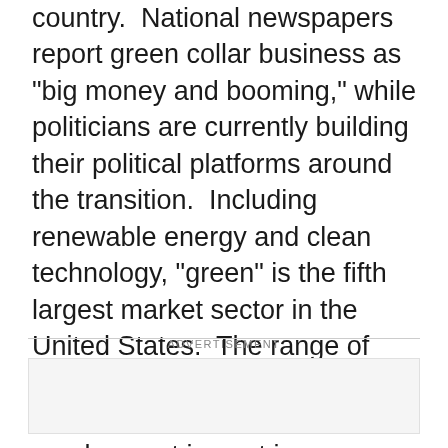country.  National newspapers report green collar business as "big money and booming," while politicians are currently building their political platforms around the transition.  Including renewable energy and clean technology, "green" is the fifth largest market sector in the United States.  The range of jobs and skill requirements is wide, but the potential employment impact is substantial: one recent analysis by Cleantech Venture Network, a green-oriented venture capitalist fund, estimated that as many as 500,000 green collar jobs could be created by 2010.
ADVERTISEMENT